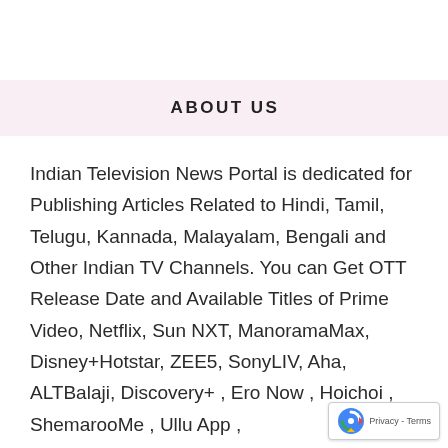ABOUT US
Indian Television News Portal is dedicated for Publishing Articles Related to Hindi, Tamil, Telugu, Kannada, Malayalam, Bengali and Other Indian TV Channels. You can Get OTT Release Date and Available Titles of Prime Video, Netflix, Sun NXT, ManoramaMax, Disney+Hotstar, ZEE5, SonyLIV, Aha, ALTBalaji, Discovery+ , Ero Now , Hoichoi , ShemarooMe , Ullu App ,